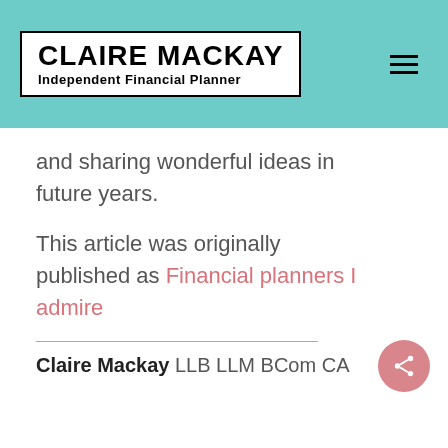CLAIRE MACKAY Independent Financial Planner
and sharing wonderful ideas in future years.
This article was originally published as Financial planners I admire
Claire Mackay LLB LLM BCom CA